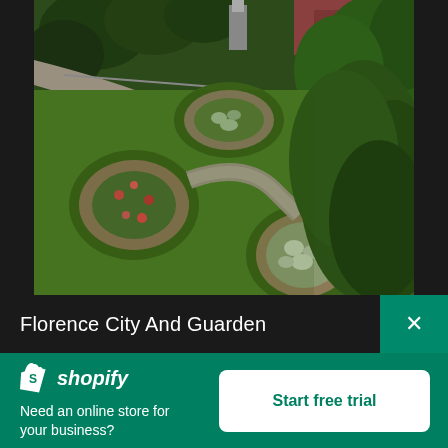[Figure (photo): Aerial view of Florence city garden with circular flower beds, manicured lawn, winding path, and lush green trees]
Florence City And Guarden
[Figure (logo): Shopify logo — white shopping bag icon with S and italic 'shopify' text]
Need an online store for your business?
Start free trial